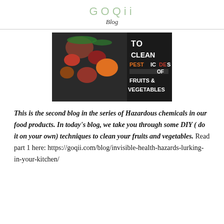GOQii
Blog
[Figure (illustration): Blog header image showing hands holding fresh vegetables and fruits (sweet potato, radishes, oranges, grapefruit) on a dark background, with white text overlay reading: TO CLEAN PESTICIDES OF FRUITS & VEGETABLES]
This is the second blog in the series of Hazardous chemicals in our food products. In today’s blog, we take you through some DIY ( do it on your own) techniques to clean your fruits and vegetables. Read part 1 here: https://goqii.com/blog/invisible-health-hazards-lurking-in-your-kitchen/